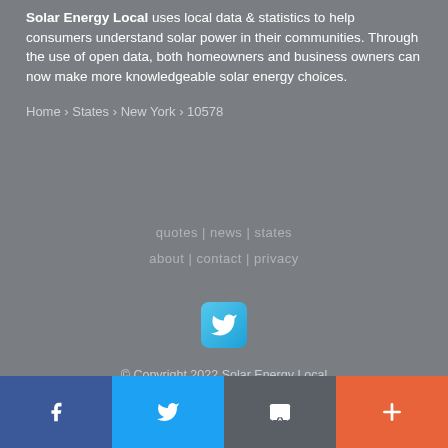Solar Energy Local uses local data & statistics to help consumers understand solar power in their communities. Through the use of open data, both homeowners and business owners can now make more knowledgeable solar energy choices.
Home › States › New York › 10578
quotes | news | states
about | contact | privacy
[Figure (logo): Twitter bird icon in a rounded blue square button]
© Copyright 2022 Solar Energy Local
Facebook | Twitter | Email | More (share buttons)